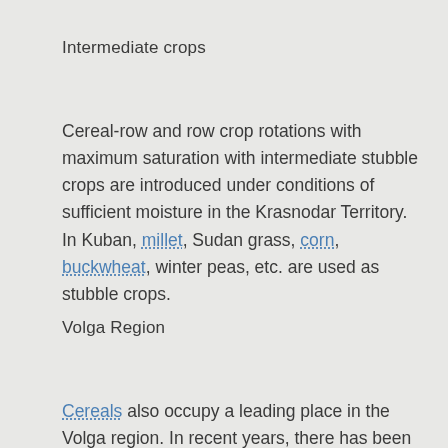Intermediate crops
Cereal-row and row crop rotations with maximum saturation with intermediate stubble crops are introduced under conditions of sufficient moisture in the Krasnodar Territory. In Kuban, millet, Sudan grass, corn, buckwheat, winter peas, etc. are used as stubble crops.
Volga Region
Cereals also occupy a leading place in the Volga region. In recent years, there has been a tendency